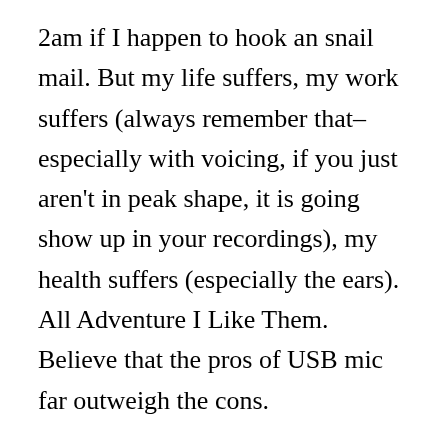2am if I happen to hook an snail mail. But my life suffers, my work suffers (always remember that–especially with voicing, if you just aren't in peak shape, it is going show up in your recordings), my health suffers (especially the ears). All Adventure I Like Them. Believe that the pros of USB mic far outweigh the cons.

High quality content . generation of USB mics with gain control and latency-free monitoring allow for you to sling your studio